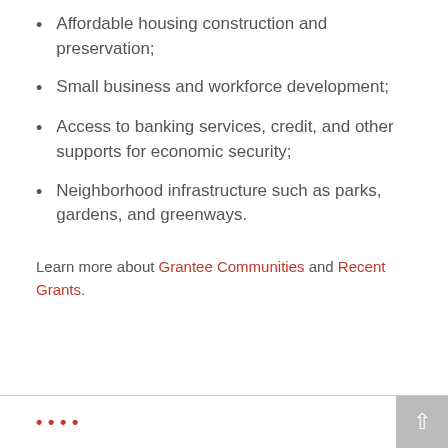Affordable housing construction and preservation;
Small business and workforce development;
Access to banking services, credit, and other supports for economic security;
Neighborhood infrastructure such as parks, gardens, and greenways.
Learn more about Grantee Communities and Recent Grants.